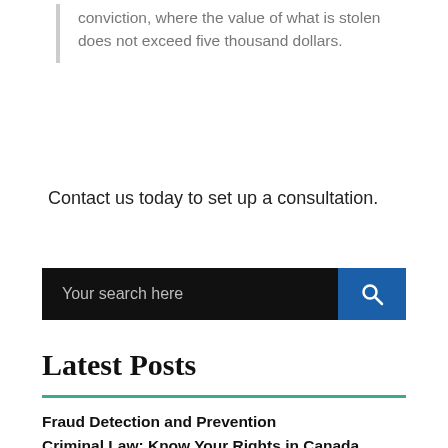conviction, where the value of what is stolen does not exceed five thousand dollars.
Contact us today to set up a consultation.
Fraud Detection and Prevention
Criminal Law: Know Your Rights in Canada
Driving While Prohibited – What Are My Options
Factors to Consider When Choosing a Vancouver Criminal Defence Lawyer